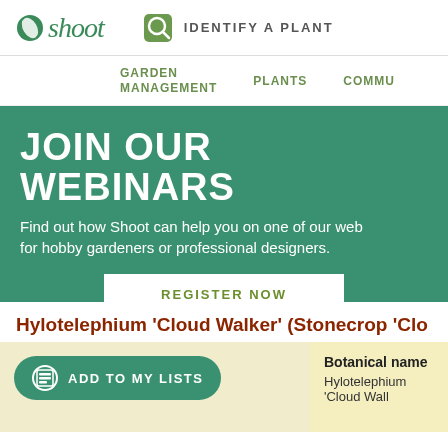shoot — IDENTIFY A PLANT
GARDEN MANAGEMENT  PLANTS  COMMU
[Figure (infographic): Green banner with 'JOIN OUR WEBINARS' heading, description text, and REGISTER NOW button]
Hylotelephium 'Cloud Walker' (Stonecrop 'Clo
ADD TO MY LISTS
Botanical name
Hylotelephium 'Cloud Wall